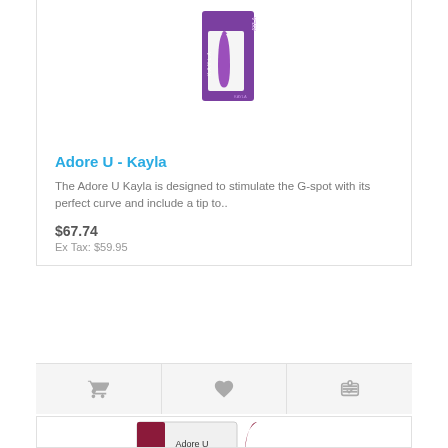[Figure (photo): Purple Adore U Kayla product box with purple vibrator shown inside packaging, on white background]
Adore U - Kayla
The Adore U Kayla is designed to stimulate the G-spot with its perfect curve and include a tip to..
$67.74
Ex Tax: $59.95
[Figure (photo): Dark red/maroon Adore U Lara product shown with its packaging box and the product itself beside it]